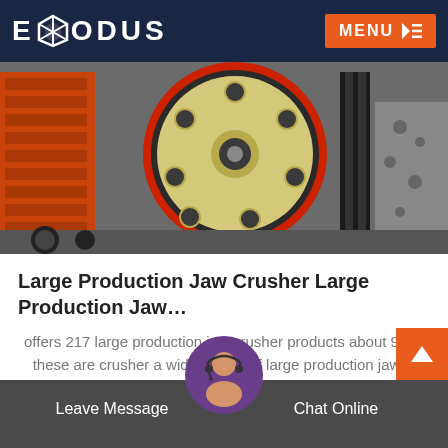EXODUS  MENU
[Figure (photo): Close-up photo of a large jaw crusher flywheel (yellow/cream colored large wheel with a red rim and black belt pulleys) with orange industrial machinery visible in the background, taken in an industrial/factory setting.]
Large Production Jaw Crusher Large Production Jaw…
offers 217 large production jaw crusher products about 98 of these are crusher a wide variety of large production jaw…
READ MORE
Leave Message  Chat Online